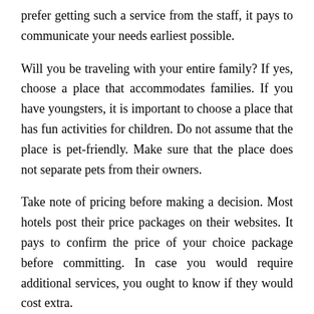prefer getting such a service from the staff, it pays to communicate your needs earliest possible.
Will you be traveling with your entire family? If yes, choose a place that accommodates families. If you have youngsters, it is important to choose a place that has fun activities for children. Do not assume that the place is pet-friendly. Make sure that the place does not separate pets from their owners.
Take note of pricing before making a decision. Most hotels post their price packages on their websites. It pays to confirm the price of your choice package before committing. In case you would require additional services, you ought to know if they would cost extra.
Travel Tips for The Average Joe
The Key Elements of Great Resorts